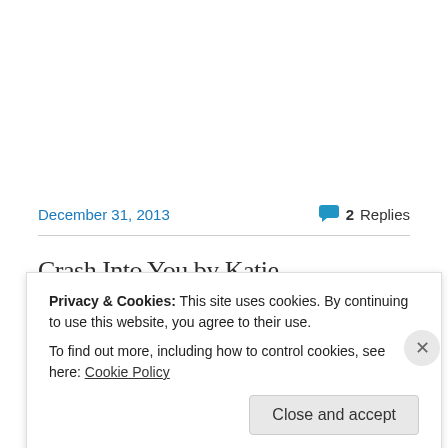December 31, 2013
2 Replies
Crash Into You by Katie
Privacy & Cookies: This site uses cookies. By continuing to use this website, you agree to their use.
To find out more, including how to control cookies, see here: Cookie Policy
Close and accept